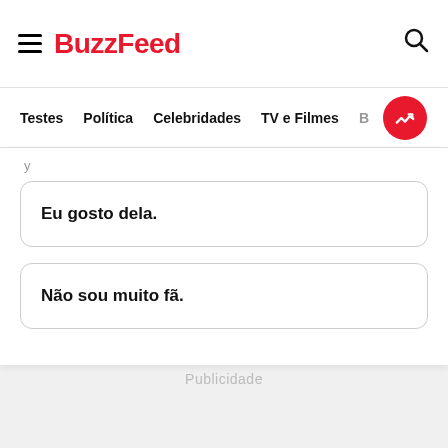BuzzFeed
Testes | Política | Celebridades | TV e Filmes | B...
Eu gosto dela.
Não sou muito fã.
Publicidade